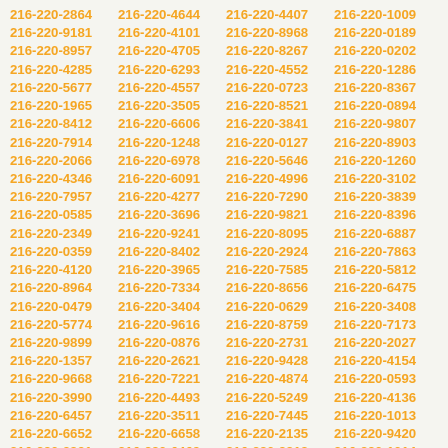216-220-2864
216-220-4644
216-220-4407
216-220-1009
216-220-9181
216-220-4101
216-220-8968
216-220-0189
216-220-8957
216-220-4705
216-220-8267
216-220-0202
216-220-4285
216-220-6293
216-220-4552
216-220-1286
216-220-5677
216-220-4557
216-220-0723
216-220-8367
216-220-1965
216-220-3505
216-220-8521
216-220-0894
216-220-8412
216-220-6606
216-220-3841
216-220-9807
216-220-7914
216-220-1248
216-220-0127
216-220-8903
216-220-2066
216-220-6978
216-220-5646
216-220-1260
216-220-4346
216-220-6091
216-220-4996
216-220-3102
216-220-7957
216-220-4277
216-220-7290
216-220-3839
216-220-0585
216-220-3696
216-220-9821
216-220-8396
216-220-2349
216-220-9241
216-220-8095
216-220-6887
216-220-0359
216-220-8402
216-220-2924
216-220-7863
216-220-4120
216-220-3965
216-220-7585
216-220-5812
216-220-8964
216-220-7334
216-220-8656
216-220-6475
216-220-0479
216-220-3404
216-220-0629
216-220-3408
216-220-5774
216-220-9616
216-220-8759
216-220-7173
216-220-9899
216-220-0876
216-220-2731
216-220-2027
216-220-1357
216-220-2621
216-220-9428
216-220-4154
216-220-9668
216-220-7221
216-220-4874
216-220-0593
216-220-3990
216-220-4493
216-220-5249
216-220-4136
216-220-6457
216-220-3511
216-220-7445
216-220-1013
216-220-6652
216-220-6658
216-220-2135
216-220-9420
216-220-3931
216-220-6469
216-220-2818
216-220-1014
216-220-0485
216-220-6256
216-220-9758
216-220-0091
216-220-2940
216-220-9947
216-220-8700
216-220-3912
216-220-7820
216-220-0120
216-220-4469
216-220-7695
216-220-9587
216-220-3355
216-220-3552
216-220-3146
216-220-4575
216-220-8405
216-220-5633
216-220-4066